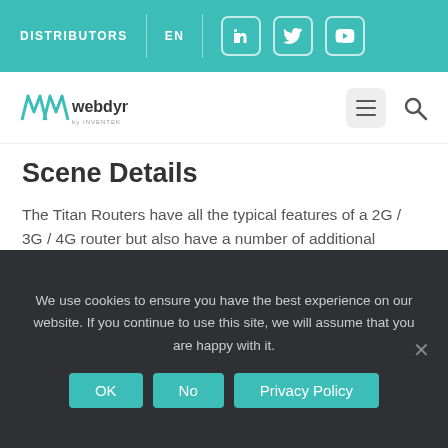DISTRIBUTORS | EN | [LinkedIn] [Twitter] [YouTube]
[Figure (logo): Webdyn logo with WM symbol and hamburger menu icon and search icon]
Scene Details
The Titan Routers have all the typical features of a 2G / 3G / 4G router but also have a number of additional features that make it one of the most profitable routers on the market.
One of the additional features is the ability to store and send data from a Maxbotix RS232
We use cookies to ensure you have the best experience on our website. If you continue to use this site, we will assume that you are happy with it.